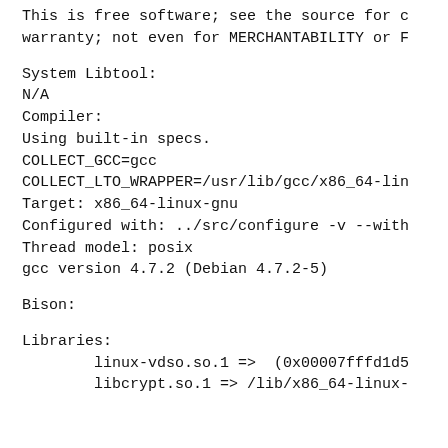This is free software; see the source for c warranty; not even for MERCHANTABILITY or F
System Libtool:
N/A
Compiler:
Using built-in specs.
COLLECT_GCC=gcc
COLLECT_LTO_WRAPPER=/usr/lib/gcc/x86_64-lin
Target: x86_64-linux-gnu
Configured with: ../src/configure -v --with
Thread model: posix
gcc version 4.7.2 (Debian 4.7.2-5)
Bison:
Libraries:
        linux-vdso.so.1 =>  (0x00007fffd1d5
        libcrypt.so.1 => /lib/x86_64-linux-